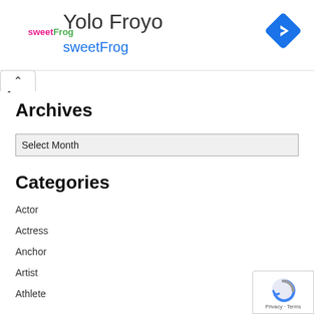[Figure (logo): sweetFrog logo with pink 'sweet' and green 'Frog' text]
Yolo Froyo
sweetFrog
[Figure (other): Blue diamond-shaped navigation/direction icon with white arrow]
Archives
Select Month
Categories
Actor
Actress
Anchor
Artist
Athlete
[Figure (logo): Google reCAPTCHA badge with blue/grey refresh icon and Privacy · Terms text]